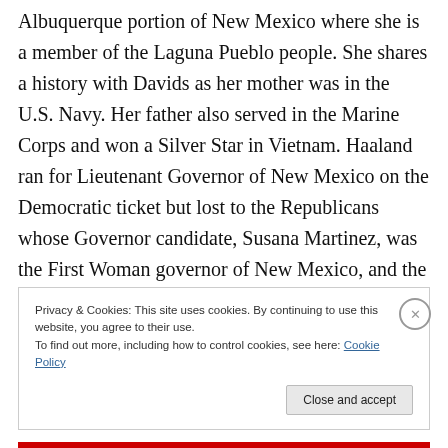Albuquerque portion of New Mexico where she is a member of the Laguna Pueblo people. She shares a history with Davids as her mother was in the U.S. Navy. Her father also served in the Marine Corps and won a Silver Star in Vietnam. Haaland ran for Lieutenant Governor of New Mexico on the Democratic ticket but lost to the Republicans whose Governor candidate, Susana Martinez, was the First Woman governor of New Mexico, and the First Hispanic Governor in the United States. Haaland wore traditional Pueblo dress when she was sworn into Congress. Her primary focus is on the climate
Privacy & Cookies: This site uses cookies. By continuing to use this website, you agree to their use.
To find out more, including how to control cookies, see here: Cookie Policy